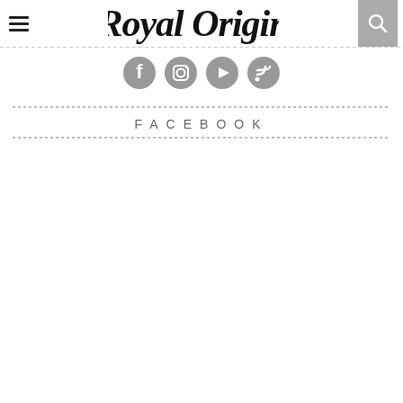Royal Origin
[Figure (logo): Social media icons: Facebook, Instagram, YouTube, RSS feed - grey circular icons]
FACEBOOK